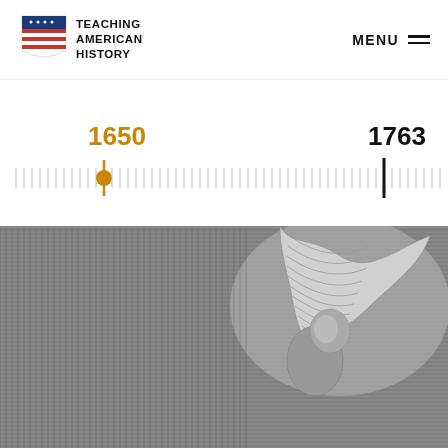TEACHING AMERICAN HISTORY | MENU
[Figure (other): Teaching American History logo with stylized American flag icon and text 'TEACHING AMERICAN HISTORY']
[Figure (infographic): Interactive timeline slider showing years 1650 (highlighted in gold/orange with a circular marker) and 1763 (with a black vertical bar). Many vertical tick marks span between the two dates. Below is an 'EXPAND TIMELINE' link with an expand icon arrow.]
EXPAND TIMELINE
[Figure (illustration): Black and white engraving-style illustration of a historical figure (appears to be an angel or classical figure) against a hatched background, cropped to show upper body and wings.]